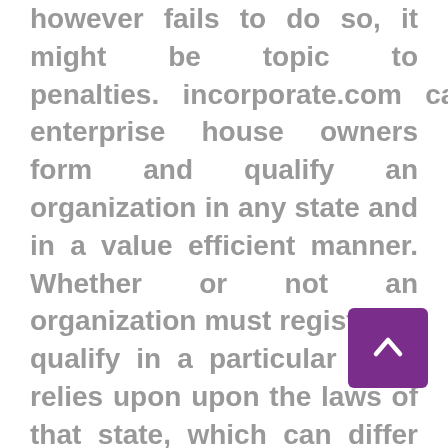however fails to do so, it might be topic to penalties. incorporate.com can help enterprise house owners form and qualify an organization in any state and in a value efficient manner. Whether or not an organization must register or qualify in a particular state relies upon upon the laws of that state, which can differ from state to state.
Many states require companies that conduct enterprise in the state to file a separate tax return and pay taxes directly to that state based mostly upon the business performed in that state, even if